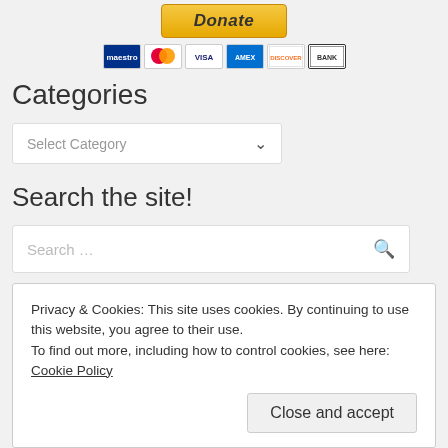[Figure (other): Donate button with payment method icons (Maestro, MasterCard, Visa, Amex, Discover, Bank)]
Categories
[Figure (other): Select Category dropdown widget]
Search the site!
[Figure (other): Search input box with magnifying glass icon]
Categories
America (749)
Privacy & Cookies: This site uses cookies. By continuing to use this website, you agree to their use.
To find out more, including how to control cookies, see here: Cookie Policy
Close and accept